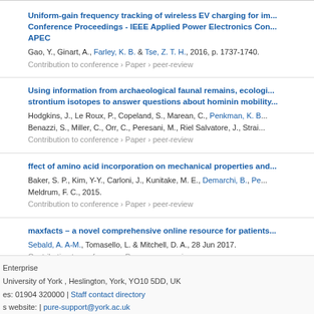Uniform-gain frequency tracking of wireless EV charging for im... Conference Proceedings - IEEE Applied Power Electronics Con... APEC
Gao, Y., Ginart, A., Farley, K. B. & Tse, Z. T. H., 2016, p. 1737-1740.
Contribution to conference › Paper › peer-review
Using information from archaeological faunal remains, ecologi... strontium isotopes to answer questions about hominin mobility...
Hodgkins, J., Le Roux, P., Copeland, S., Marean, C., Penkman, K. B... Benazzi, S., Miller, C., Orr, C., Peresani, M., Riel Salvatore, J., Strai...
Contribution to conference › Paper › peer-review
ffect of amino acid incorporation on mechanical properties and...
Baker, S. P., Kim, Y-Y., Carloni, J., Kunitake, M. E., Demarchi, B., Pe... Meldrum, F. C., 2015.
Contribution to conference › Paper › peer-review
maxfacts – a novel comprehensive online resource for patients...
Sebald, A. A-M., Tomasello, L. & Mitchell, D. A., 28 Jun 2017.
Contribution to conference › Paper › peer-review
Enterprise
University of York , Heslington, York, YO10 5DD, UK
es: 01904 320000 | Staff contact directory
s website: | pure-support@york.ac.uk